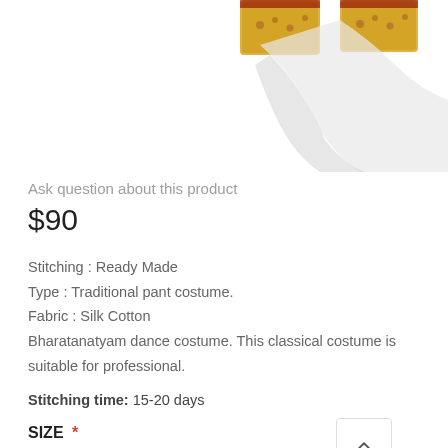[Figure (photo): Partial product photo showing top portion of a Bharatanatyam dance costume with yellow/gold decorative borders and white fabric, cropped at the top of the page.]
Ask question about this product
$90
Stitching : Ready Made
Type : Traditional pant costume.
Fabric : Silk Cotton
Bharatanatyam dance costume. This classical costume is suitable for professional.
Stitching time: 15-20 days
SIZE *
32